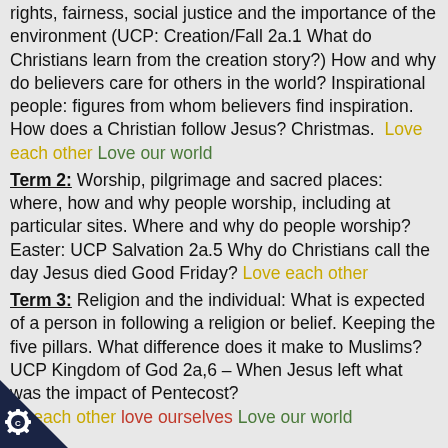rights, fairness, social justice and the importance of the environment (UCP: Creation/Fall 2a.1 What do Christians learn from the creation story?) How and why do believers care for others in the world? Inspirational people: figures from whom believers find inspiration. How does a Christian follow Jesus? Christmas. Love each other Love our world
Term 2: Worship, pilgrimage and sacred places: where, how and why people worship, including at particular sites. Where and why do people worship? Easter: UCP Salvation 2a.5 Why do Christians call the day Jesus died Good Friday? Love each other
Term 3: Religion and the individual: What is expected of a person in following a religion or belief. Keeping the five pillars. What difference does it make to Muslims? UCP Kingdom of God 2a,6 – When Jesus left what was the impact of Pentecost? Love each other love ourselves Love our world
[Figure (logo): Dark navy triangle with white star/cog emblem and letter C, bottom-left corner]